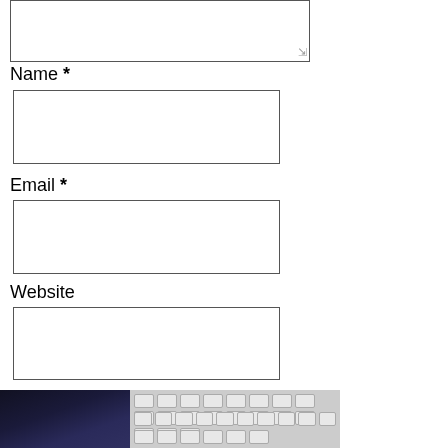[Figure (screenshot): A comment form section showing: a textarea at top, Name field with asterisk label, Email field with asterisk label, Website field, and a Post Comment button. Below the form is a partial photograph of a smartphone and keyboard.]
Name *
Email *
Website
Post Comment